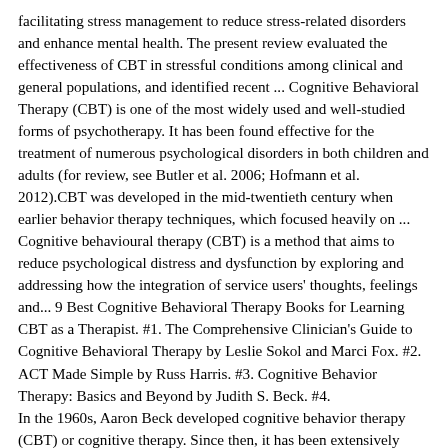facilitating stress management to reduce stress-related disorders and enhance mental health. The present review evaluated the effectiveness of CBT in stressful conditions among clinical and general populations, and identified recent ... Cognitive Behavioral Therapy (CBT) is one of the most widely used and well-studied forms of psychotherapy. It has been found effective for the treatment of numerous psychological disorders in both children and adults (for review, see Butler et al. 2006; Hofmann et al. 2012).CBT was developed in the mid-twentieth century when earlier behavior therapy techniques, which focused heavily on ... Cognitive behavioural therapy (CBT) is a method that aims to reduce psychological distress and dysfunction by exploring and addressing how the integration of service users' thoughts, feelings and... 9 Best Cognitive Behavioral Therapy Books for Learning CBT as a Therapist. #1. The Comprehensive Clinician's Guide to Cognitive Behavioral Therapy by Leslie Sokol and Marci Fox. #2. ACT Made Simple by Russ Harris. #3. Cognitive Behavior Therapy: Basics and Beyond by Judith S. Beck. #4.
In the 1960s, Aaron Beck developed cognitive behavior therapy (CBT) or cognitive therapy. Since then, it has been extensively researched and found to be effective in a large number of outcome studies for some psychiatric disorders, including depression, anxiety disorders, eating disorders, substance …
The Anxiety and Worry Workbook: The Cognitive Behavioral Solution - David A. Clark and Aaron T. Beck This book, co-